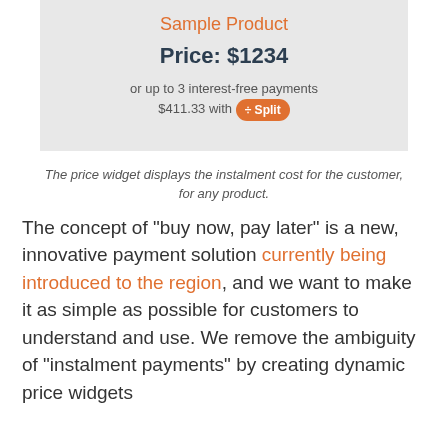[Figure (screenshot): A price widget UI box showing 'Sample Product' in orange, 'Price: $1234' in bold dark text, and instalment text 'or up to 3 interest-free payments $411.33 with ÷Split' on a light grey background.]
The price widget displays the instalment cost for the customer, for any product.
The concept of "buy now, pay later" is a new, innovative payment solution currently being introduced to the region, and we want to make it as simple as possible for customers to understand and use. We remove the ambiguity of "instalment payments" by creating dynamic price widgets